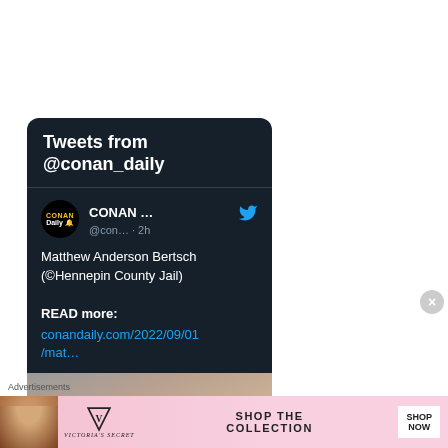[Figure (screenshot): Twitter/X embedded tweet card with dark background showing 'Tweets from @conan_daily' heading, a tweet from CONAN Daily account with text about Matthew Anderson Bertsch (©Hennepin County Jail) and a link to conandaily.com/2022/09/01/mat... with a partial image of a person's face at the bottom]
Advertisements
[Figure (photo): Victoria's Secret advertisement banner with pink background, featuring a model with curly hair on the left, Victoria's Secret logo in center-left, text 'SHOP THE COLLECTION' in center, and a white 'SHOP NOW' button on the right]